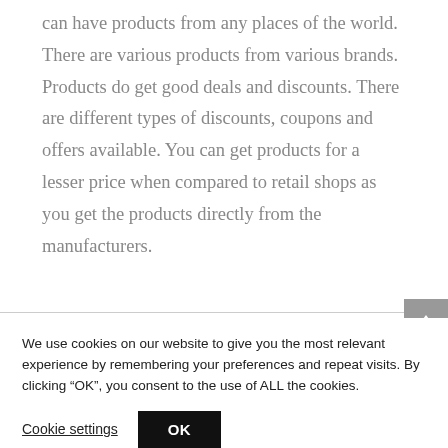can have products from any places of the world. There are various products from various brands. Products do get good deals and discounts. There are different types of discounts, coupons and offers available. You can get products for a lesser price when compared to retail shops as you get the products directly from the manufacturers.
We use cookies on our website to give you the most relevant experience by remembering your preferences and repeat visits. By clicking “OK”, you consent to the use of ALL the cookies.
Cookie settings
OK